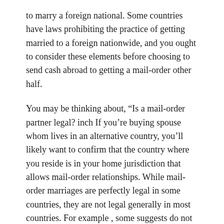to marry a foreign national. Some countries have laws prohibiting the practice of getting married to a foreign nationwide, and you ought to consider these elements before choosing to send cash abroad to getting a mail-order other half.
You may be thinking about, “Is a mail-order partner legal? inch If you’re buying spouse whom lives in an alternative country, you’ll likely want to confirm that the country where you reside is in your home jurisdiction that allows mail-order relationships. While mail-order marriages are perfectly legal in some countries, they are not legal generally in most countries. For example , some suggests do not allow partnerships between foreign nationals, and have laws and regulations that make this kind of activity illegal.
In the UK, mail-order brides will be legal, and mail-order